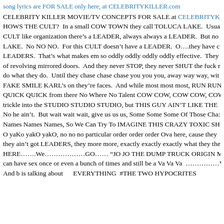song lyrics are FOR SALE only here, at CELEBRITYKILLER.com
CELEBRITY KILLER MOVIE/TV CONCEPTS FOR SALE at CELEBRITYK
HOWS THE CULT?  In a small COW TOWN they call TOLUCA LAKE.  Usua
CULT like organization there’s a LEADER, always always a LEADER.  But no
LAKE.  No NO NO.  For this CULT doesn’t have a LEADER.  O….they have c
LEADERS.  That’s what makes em so oddly oddly oddly oddly effective.  They
of revolving mirrored doors.  And they never STOP, they never SHUT the fuck r
do what they do.  Until they chase chase chase you you you, away way way, wit
FAKE SMILE KARL’s on they’re faces.  And while most most most, RUN RUN
QUICK QUICK from there No Where No Talent COW COW, COW COW, COW
trickle into the STUDIO STUDIO STUDIO, but THIS GUY AIN’T LIKE THE
No he ain’t.  But wait wait wait, give us us us, Some Some Some Of Those Cha:
Names Names Names, So We Can Try To IMAGINE THIS CRAZY TOXIC SH
O yaKo yakO yakO, no no no particular order order order Ova here, cause they
they ain’t got LEADERS, they more more, exactly exactly exactly what they the
HERE…….We………………GO…… “JO JO THE DUMP TRUCK ORIGIN MU
can have sex once or even a bunch of times and still be a Va Va Va  ………….V…
And b is talking about     EVERYTHING  #THE TWO HYPOCRITES